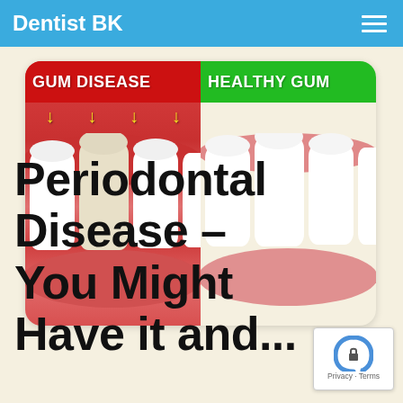Dentist BK
[Figure (photo): Side-by-side dental comparison: left half shows 'GUM DISEASE' on red background with inflamed red gums and yellow arrows pointing down to swollen gum tissue around white teeth; right half shows 'HEALTHY GUM' on green background with pale pink healthy gums and white teeth.]
Periodontal Disease – You Might Have it and...